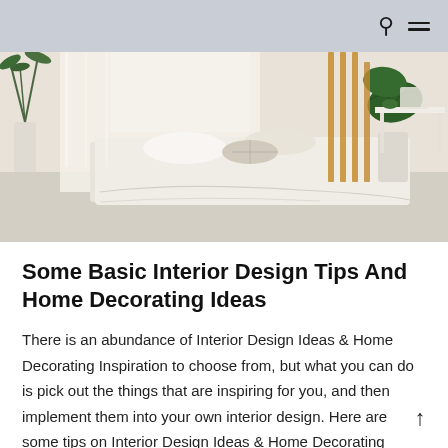[Figure (photo): Bright, airy bedroom with linen bed, decorative pillows, large indoor plants including a monstera and a tall dracaena, sheer white curtains, warm wooden screen divider, and a white desk with chair on a light marble floor.]
Some Basic Interior Design Tips And Home Decorating Ideas
There is an abundance of Interior Design Ideas & Home Decorating Inspiration to choose from, but what you can do is pick out the things that are inspiring for you, and then implement them into your own interior design. Here are some tips on Interior Design Ideas & Home Decorating